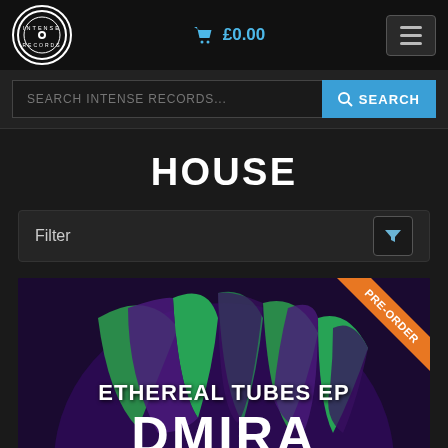[Figure (screenshot): Intense Records logo circular badge in top left nav bar]
£0.00
SEARCH INTENSE RECORDS... SEARCH
HOUSE
Filter
[Figure (photo): Album art for Ethereal Tubes EP by DMIRA with purple and green abstract design and PRE-ORDER ribbon badge]